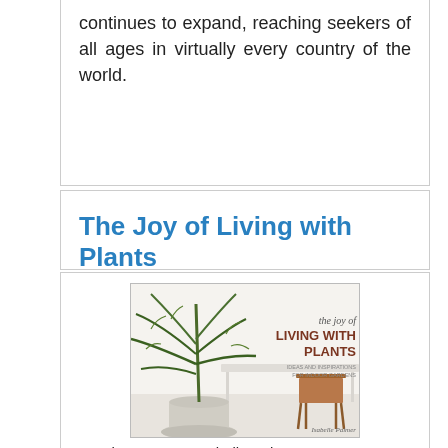continues to expand, reaching seekers of all ages in virtually every country of the world.
The Joy of Living with Plants
[Figure (illustration): Book cover image for 'the joy of LIVING WITH PLANTS - IDEAS AND INSPIRATIONS FOR INDOOR GARDENS' by Isabelle Palmer, showing a large indoor palm plant next to a white desk and a wooden chair in a bright room.]
Author                    : Isabelle Palmer